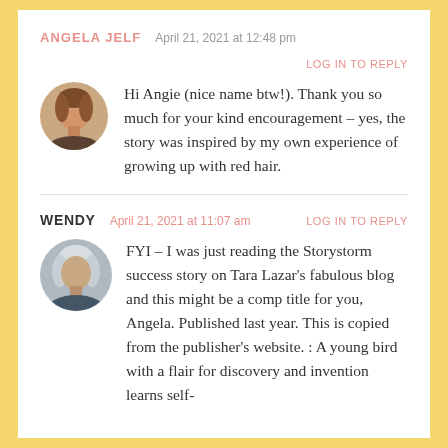ANGELA JELF   April 21, 2021 at 12:48 pm
LOG IN TO REPLY
Hi Angie (nice name btw!). Thank you so much for your kind encouragement – yes, the story was inspired by my own experience of growing up with red hair.
WENDY   April 21, 2021 at 11:07 am   LOG IN TO REPLY
FYI – I was just reading the Storystorm success story on Tara Lazar's fabulous blog and this might be a comp title for you, Angela. Published last year. This is copied from the publisher's website. : A young bird with a flair for discovery and invention learns self-